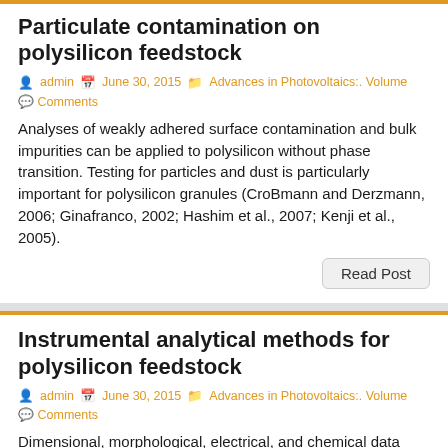Particulate contamination on polysilicon feedstock
admin   June 30, 2015   Advances in Photovoltaics:. Volume   Comments
Analyses of weakly adhered surface contamination and bulk impurities can be applied to polysilicon without phase transition. Testing for particles and dust is particularly important for polysilicon granules (CroBmann and Derzmann, 2006; Ginafranco, 2002; Hashim et al., 2007; Kenji et al., 2005).
Instrumental analytical methods for polysilicon feedstock
admin   June 30, 2015   Advances in Photovoltaics:. Volume   Comments
Dimensional, morphological, electrical, and chemical data characterize SG-Si feedstock. Direct measurements and analyses can be applied to as – grown polysilicon, indirect measurements, and analysis require monocrystalline or dissolved specimens (Table 7.8) Evaluation technique